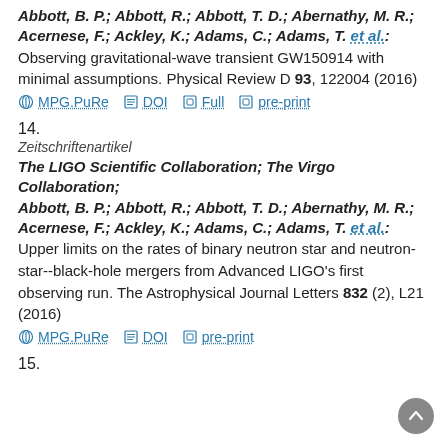Abbott, B. P.; Abbott, R.; Abbott, T. D.; Abernathy, M. R.; Acernese, F.; Ackley, K.; Adams, C.; Adams, T. et al.: Observing gravitational-wave transient GW150914 with minimal assumptions. Physical Review D 93, 122004 (2016)
MPG.PuRe | DOI | Full | pre-print
14.
Zeitschriftenartikel
The LIGO Scientific Collaboration; The Virgo Collaboration; Abbott, B. P.; Abbott, R.; Abbott, T. D.; Abernathy, M. R.; Acernese, F.; Ackley, K.; Adams, C.; Adams, T. et al.: Upper limits on the rates of binary neutron star and neutron-star--black-hole mergers from Advanced LIGO's first observing run. The Astrophysical Journal Letters 832 (2), L21 (2016)
MPG.PuRe | DOI | pre-print
15.